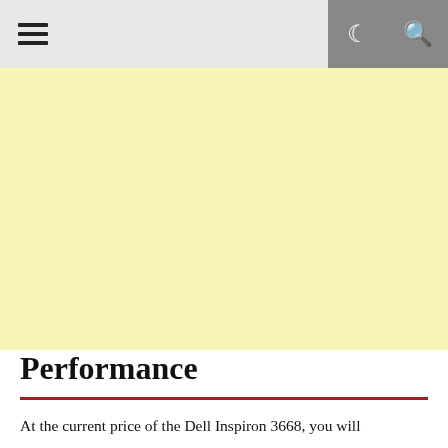☰ ☾ 🔍
[Figure (other): Yellow advertisement block placeholder]
Performance
At the current price of the Dell Inspiron 3668, you will